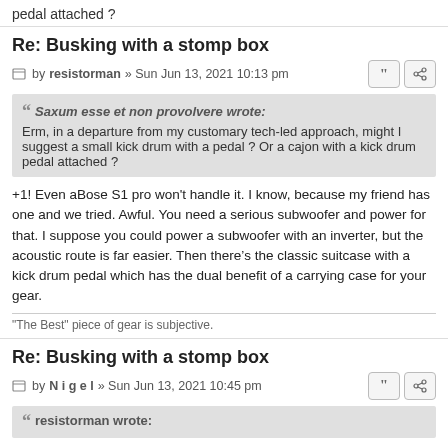pedal attached ?
Re: Busking with a stomp box
by resistorman » Sun Jun 13, 2021 10:13 pm
Saxum esse et non provolvere wrote:
Erm, in a departure from my customary tech-led approach, might I suggest a small kick drum with a pedal ? Or a cajon with a kick drum pedal attached ?
+1! Even aBose S1 pro won't handle it. I know, because my friend has one and we tried. Awful. You need a serious subwoofer and power for that. I suppose you could power a subwoofer with an inverter, but the acoustic route is far easier. Then there's the classic suitcase with a kick drum pedal which has the dual benefit of a carrying case for your gear.
"The Best" piece of gear is subjective.
Re: Busking with a stomp box
by N i g e l » Sun Jun 13, 2021 10:45 pm
resistorman wrote: